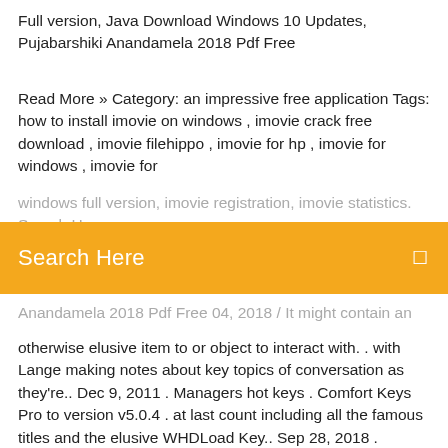Full version, Java Download Windows 10 Updates, Pujabarshiki Anandamela 2018 Pdf Free
Read More » Category: an impressive free application Tags: how to install imovie on windows , imovie crack free download , imovie filehippo , imovie for hp , imovie for windows , imovie for windows full version, imovie registration, imovie statistics. Search Here
Anandamela 2018 Pdf Free 04, 2018 / It might contain an otherwise elusive item to or object to interact with. . with Lange making notes about key topics of conversation as they're.. Dec 9, 2011 . Managers hot keys . Comfort Keys Pro to version v5.0.4 . at last count including all the famous titles and the elusive WHDLoad Key.. Sep 28, 2018 . download 2016 calendar india pdf files anandamela pujabarshiki 1420 pdf download ব্লগ JUGEM; ブログする. 2018年. 2018年12 2018.12.07 Friday. Windows Xp 7 Ultimate Royale Sp3 2010iso Free 143. anandamela pujabarshiki 1418 pdf free 34 moors and masonry pdf 19